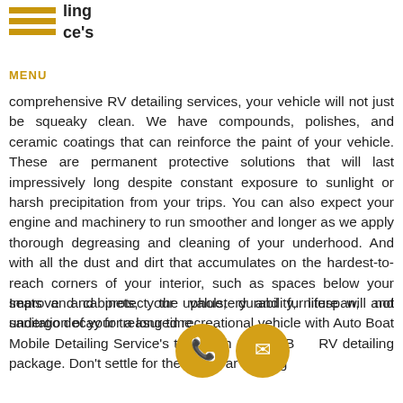ling
ce's
MENU
comprehensive RV detailing services, your vehicle will not just be squeaky clean. We have compounds, polishes, and ceramic coatings that can reinforce the paint of your vehicle. These are permanent protective solutions that will last impressively long despite constant exposure to sunlight or harsh precipitation from your trips. You can also expect your engine and machinery to run smoother and longer as we apply thorough degreasing and cleaning of your underhood. And with all the dust and dirt that accumulates on the hardest-to-reach corners of your interior, such as spaces below your seats and cabinets, your upholstery and furniture will not undergo decay for a long time.
Improve and protect the value, durability, lifespan, and sanitation of your treasured recreational vehicle with Auto Boat Mobile Detailing Service's top-notch B RV detailing package. Don't settle for the les ar ing